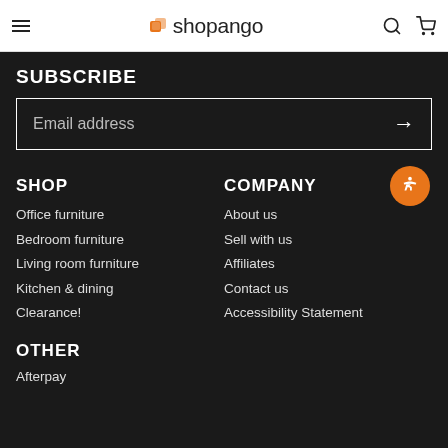shopango
SUBSCRIBE
Email address
SHOP
COMPANY
Office furniture
About us
Bedroom furniture
Sell with us
Living room furniture
Affiliates
Kitchen & dining
Contact us
Clearance!
Accessibility Statement
OTHER
Afterpay